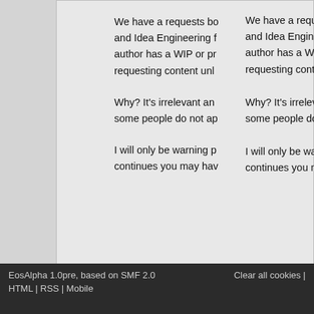We have a requests bo and Idea Engineering f author has a WIP or p requesting content unl
Why? It's irrelevant an some people do not ap
I will only be warning p continues you may hav
Page 1 of 1   1   Go Up
The Mugen Fighters Guild → Forum Particulars → Information → Forum Ru
EosAlpha 1.0pre, based on SMF 2.0
HTML | RSS | Mobile
Clear all cookies |